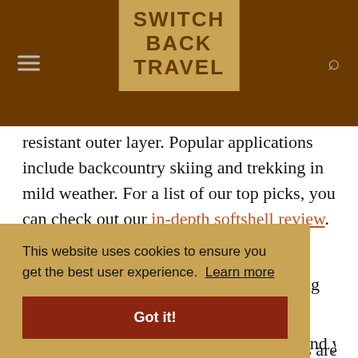SWITCH BACK TRAVEL
resistant outer layer. Popular applications include backcountry skiing and trekking in mild weather. For a list of our top picks, you can check out our in-depth softshell review.
Hardshell jackets, in contrast to the hiking rain jackets
d rics are r ou'll also
mountaineering to backcountry skiing. And you'll also
This website uses cookies to ensure you get the best user experience. Learn more
Got it!